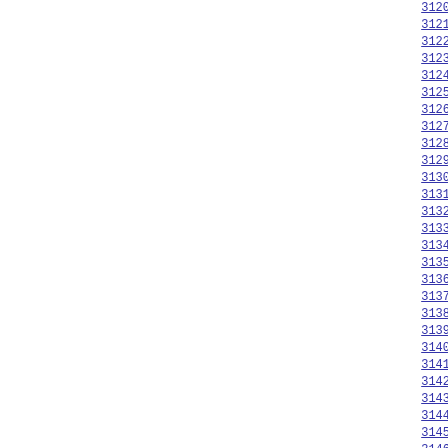3120
3121
3122  </e
3123  <en
3124
3125
3126  </e
3127  <en
3128
3129
3130  </e
3131  <en
3132
3133
3134  </e
3135  <en
3136
3137
3138  </e
3139  <en
3140
3141
3142  </e
3143  <en
3144
3145
3146  </e
3147